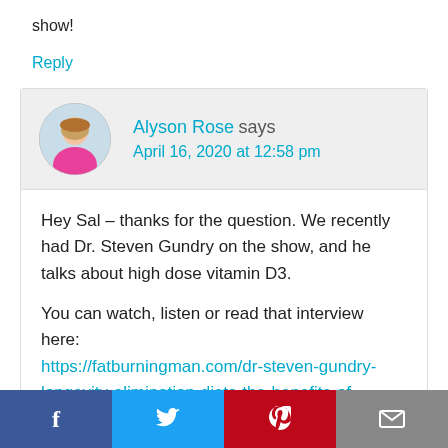show!
Reply
Alyson Rose says
April 16, 2020 at 12:58 pm
Hey Sal – thanks for the question. We recently had Dr. Steven Gundry on the show, and he talks about high dose vitamin D3.
You can watch, listen or read that interview here: https://fatburningman.com/dr-steven-gundry-longevity-elimination-diets-the-benefits-of
f  [Twitter bird]  [Pinterest P]  [Email icon]